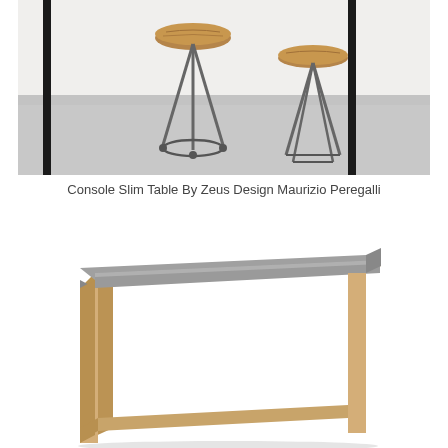[Figure (photo): Industrial-style bar stools with metal legs and round wooden seat tops, displayed against a white wall on a concrete floor, with tall black metal frames/dividers in the background.]
Console Slim Table By Zeus Design Maurizio Peregalli
[Figure (photo): A console slim table with a concrete/grey rectangular top surface and light oak wood frame legs, shown at an angle against a white background.]